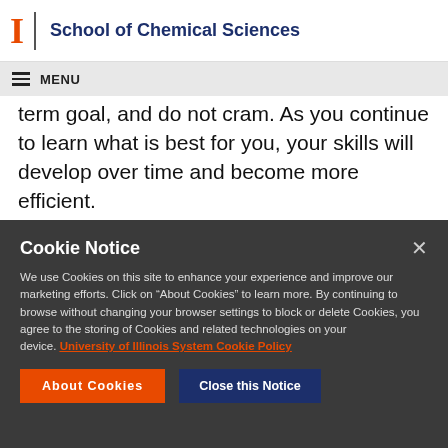I | School of Chemical Sciences
MENU
term goal, and do not cram. As you continue to learn what is best for you, your skills will develop over time and become more efficient.
Cookie Notice
We use Cookies on this site to enhance your experience and improve our marketing efforts. Click on “About Cookies” to learn more. By continuing to browse without changing your browser settings to block or delete Cookies, you agree to the storing of Cookies and related technologies on your device. University of Illinois System Cookie Policy